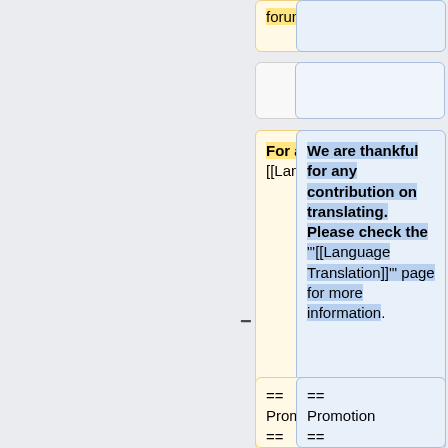forums.
For a tutorial, see [[Language Translation]].
We are thankful for any contribution on translating. Please check the "'[[Language Translation]]'" page for more information.
== Promotion ==
== Promotion ==